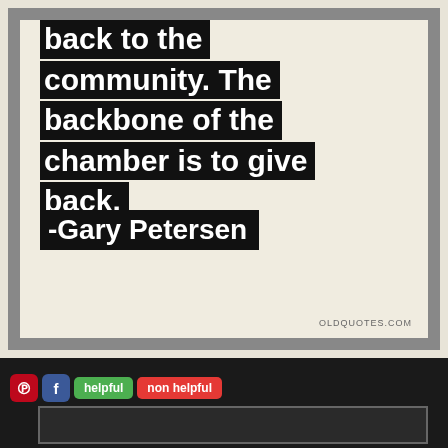[Figure (photo): A framed quote poster on a cream/beige background. The quote text appears as white text on black rectangular highlight blocks. The quote reads: 'back to the community. The backbone of the chamber is to give back.' with attribution '-Gary Petersen'. Watermark reads 'OLDQUOTES.COM' in bottom right corner.]
helpful  non helpful